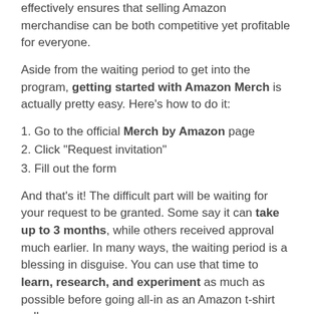effectively ensures that selling Amazon merchandise can be both competitive yet profitable for everyone.
Aside from the waiting period to get into the program, getting started with Amazon Merch is actually pretty easy. Here’s how to do it:
1. Go to the official Merch by Amazon page
2. Click “Request invitation”
3. Fill out the form
And that’s it! The difficult part will be waiting for your request to be granted. Some say it can take up to 3 months, while others received approval much earlier. In many ways, the waiting period is a blessing in disguise. You can use that time to learn, research, and experiment as much as possible before going all-in as an Amazon t-shirt seller.